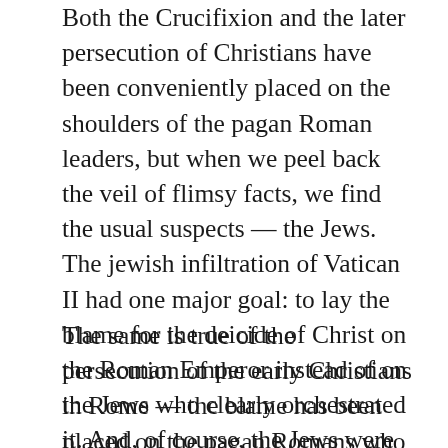Both the Crucifixion and the later persecution of Christians have been conveniently placed on the shoulders of the pagan Roman leaders, but when we peel back the veil of flimsy facts, we find the usual suspects — the Jews.  The jewish infiltration of Vatican II had one major goal: to lay the blame for the deicide of Christ on the Roman Emperor instead of on the Jews who clearly orchestrated it. And, of course, the Jews were successful — the Catholic Church has since exonerated the Jews of this crime, in completely contradiction to the witnesses in the Gospels.
The same is true of the persecution of the early Christians in Rome — the blame has been placed on the pagan Romans who allegedly saw Christianity as a threat to their social order.  It now